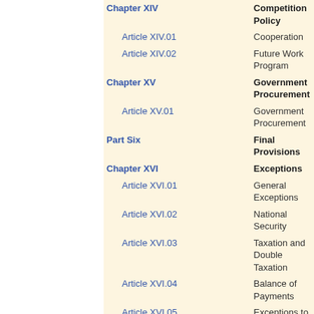Chapter XIV - Competition Policy
Article XIV.01 - Cooperation
Article XIV.02 - Future Work Program
Chapter XV - Government Procurement
Article XV.01 - Government Procurement
Part Six - Final Provisions
Chapter XVI - Exceptions
Article XVI.01 - General Exceptions
Article XVI.02 - National Security
Article XVI.03 - Taxation and Double Taxation
Article XVI.04 - Balance of Payments
Article XVI.05 - Exceptions to the Disclosure of Information
Chapter XVII - Final Provisions
Article XVII.01 - Annexes and Footnotes
Article XVII.02 - Amendments
Article XVII.03 - Entry into Force
Article XVII.04 - Provisional Application
Article XVII.05 - Reservations
Article XVII.06 - Accession
Article XVII.07 - Termination
Article XVII.08 - Authentic Texts
PDF version of text
Source: CARICOM Secretariat